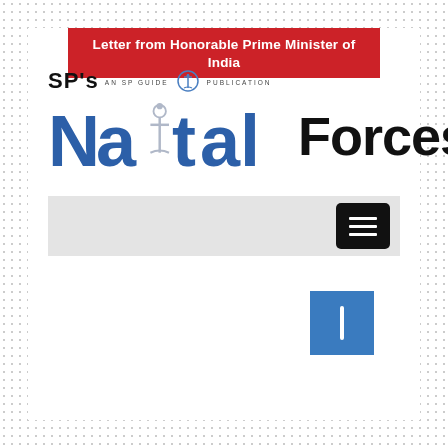Letter from Honorable Prime Minister of India
[Figure (logo): SP's Naval Forces logo — SP's text at top left with 'AN SP GUIDE PUBLICATION' and anchor emblem, followed by large 'Naval Forces' stylized text in blue and black]
[Figure (screenshot): Navigation bar with grey background and black hamburger menu button on right side]
[Figure (other): Blue square scroll/navigation button with white vertical bar/arrow icon]